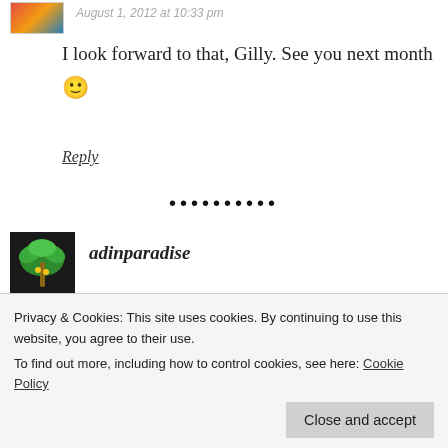August 1, 2012 at 10:33 pm
I look forward to that, Gilly. See you next month 🙂
Reply
•••••••••
adinparadise
lots of bloggers to join in. 🙂
Privacy & Cookies: This site uses cookies. By continuing to use this website, you agree to their use.
To find out more, including how to control cookies, see here: Cookie Policy
Close and accept